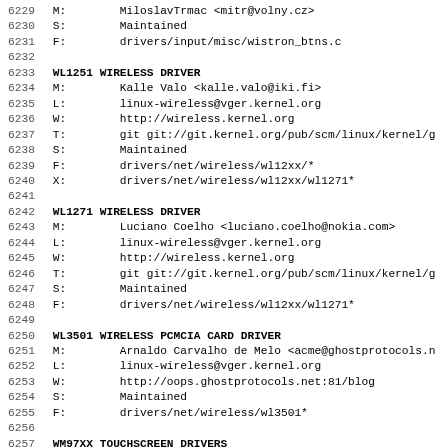6229 M:        MiloslavTrmac <mitr@volny.cz>
6230 S:        Maintained
6231 F:        drivers/input/misc/wistron_btns.c
6232
6233 WL1251 WIRELESS DRIVER
6234 M:        Kalle Valo <kalle.valo@iki.fi>
6235 L:        linux-wireless@vger.kernel.org
6236 W:        http://wireless.kernel.org
6237 T:        git git://git.kernel.org/pub/scm/linux/kernel/g
6238 S:        Maintained
6239 F:        drivers/net/wireless/wl12xx/*
6240 X:        drivers/net/wireless/wl12xx/wl1271*
6241
6242 WL1271 WIRELESS DRIVER
6243 M:        Luciano Coelho <luciano.coelho@nokia.com>
6244 L:        linux-wireless@vger.kernel.org
6245 W:        http://wireless.kernel.org
6246 T:        git git://git.kernel.org/pub/scm/linux/kernel/g
6247 S:        Maintained
6248 F:        drivers/net/wireless/wl12xx/wl1271*
6249
6250 WL3501 WIRELESS PCMCIA CARD DRIVER
6251 M:        Arnaldo Carvalho de Melo <acme@ghostprotocols.n
6252 L:        linux-wireless@vger.kernel.org
6253 W:        http://oops.ghostprotocols.net:81/blog
6254 S:        Maintained
6255 F:        drivers/net/wireless/wl3501*
6256
6257 WM97XX TOUCHSCREEN DRIVERS
6258 M:        Mark Brown <broonie@opensource.wolfsonmicro.com
6259 M:        Liam Girdwood <lrg@slimlogic.co.uk>
6260 L:        linux-input@vger.kernel.org
6261 T:        git git://opensource.wolfsonmicro.com/li